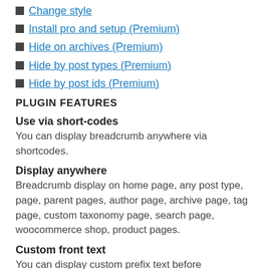Change style
Install pro and setup (Premium)
Hide on archives (Premium)
Hide by post types (Premium)
Hide by post ids (Premium)
PLUGIN FEATURES
Use via short-codes
You can display breadcrumb anywhere via shortcodes.
Display anywhere
Breadcrumb display on home page, any post type, page, parent pages, author page, archive page, tag page, custom taxonomy page, search page, woocommerce shop, product pages.
Custom front text
You can display custom prefix text before